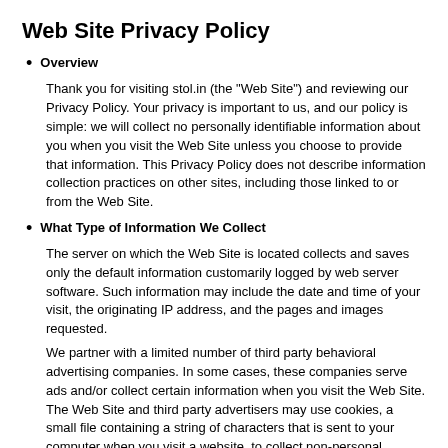Web Site Privacy Policy
Overview
Thank you for visiting stol.in (the "Web Site") and reviewing our Privacy Policy. Your privacy is important to us, and our policy is simple: we will collect no personally identifiable information about you when you visit the Web Site unless you choose to provide that information. This Privacy Policy does not describe information collection practices on other sites, including those linked to or from the Web Site.
What Type of Information We Collect
The server on which the Web Site is located collects and saves only the default information customarily logged by web server software. Such information may include the date and time of your visit, the originating IP address, and the pages and images requested.
We partner with a limited number of third party behavioral advertising companies. In some cases, these companies serve ads and/or collect certain information when you visit the Web Site. The Web Site and third party advertisers may use cookies, a small file containing a string of characters that is sent to your computer when you visit a website, to collect non-personal information (name, address, email address, or telephone number) about your visits to this and other websites in order to provide advertisements of interest to you on the Web Site, other sites, and other forms of media.
Uses May Include
We may use personal information to provide the services you've requested, including services that display customized content and